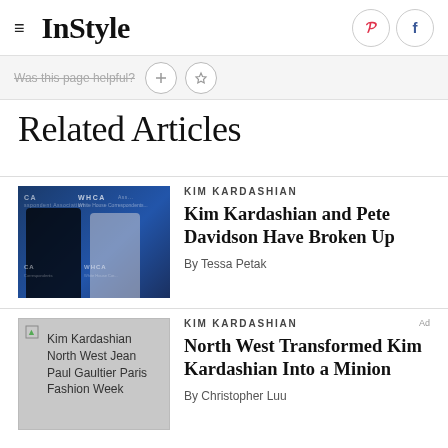InStyle
Was this page helpful?
Related Articles
[Figure (photo): Kim Kardashian and Pete Davidson at WHCA event, posing together on blue step-and-repeat banner]
KIM KARDASHIAN
Kim Kardashian and Pete Davidson Have Broken Up
By Tessa Petak
[Figure (photo): Kim Kardashian North West Jean Paul Gaultier Paris Fashion Week - broken image placeholder with alt text]
KIM KARDASHIAN
North West Transformed Kim Kardashian Into a Minion
By Christopher Luu